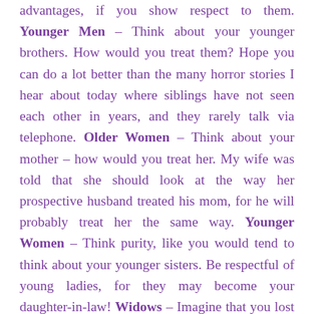advantages, if you show respect to them. Younger Men – Think about your younger brothers. How would you treat them? Hope you can do a lot better than the many horror stories I hear about today where siblings have not seen each other in years, and they rarely talk via telephone. Older Women – Think about your mother – how would you treat her. My wife was told that she should look at the way her prospective husband treated his mom, for he will probably treat her the same way. Younger Women – Think purity, like you would tend to think about your younger sisters. Be respectful of young ladies, for they may become your daughter-in-law! Widows – Imagine that you lost your dad. How would you want young men to treat your mom? Some take advantage of them, don't they? Know that all due respect is owed to ladies having to suffer the loss of their husband. No doubt